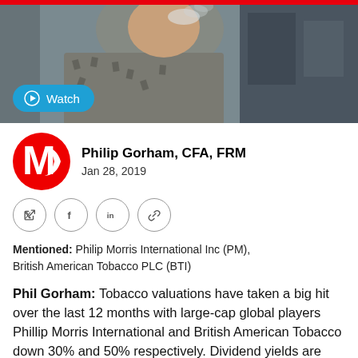[Figure (photo): Man vaping/smoking outdoors, wearing a patterned jacket, looking upward with a Watch button overlay]
Philip Gorham, CFA, FRM
Jan 28, 2019
[Figure (other): Social sharing icons: Twitter, Facebook, LinkedIn, Link]
Mentioned: Philip Morris International Inc (PM), British American Tobacco PLC (BTI)
Phil Gorham: Tobacco valuations have taken a big hit over the last 12 months with large-cap global players Phillip Morris International and British American Tobacco down 30% and 50% respectively. Dividend yields are now